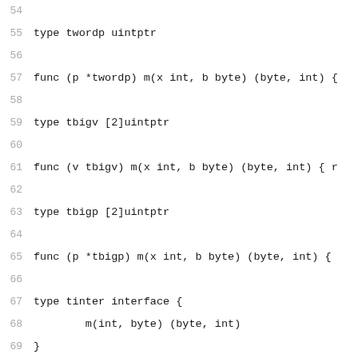54
55 type twordp uintptr
56
57 func (p *twordp) m(x int, b byte) (byte, int) {
58
59 type tbigv [2]uintptr
60
61 func (v tbigv) m(x int, b byte) (byte, int) { re
62
63 type tbigp [2]uintptr
64
65 func (p *tbigp) m(x int, b byte) (byte, int) {
66
67 type tinter interface {
68         m(int, byte) (byte, int)
69 }
70
71 // Embedding via pointer.
72
73 type T1 struct {
74         T2
75 }